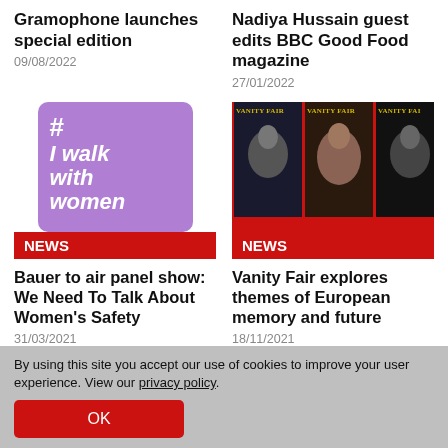Gramophone launches special edition
09/08/2022
Nadiya Hussain guest edits BBC Good Food magazine
27/01/2022
[Figure (illustration): Purple square graphic with white hashtag symbol and text '#I walk with women' in bold italic white lettering]
NEWS
[Figure (photo): Three Vanity Fair magazine covers arranged side by side on red background, showing black and white portrait photos of women]
NEWS
Bauer to air panel show: We Need To Talk About Women's Safety
31/03/2021
Vanity Fair explores themes of European memory and future
18/11/2021
By using this site you accept our use of cookies to improve your user experience. View our privacy policy.
OK